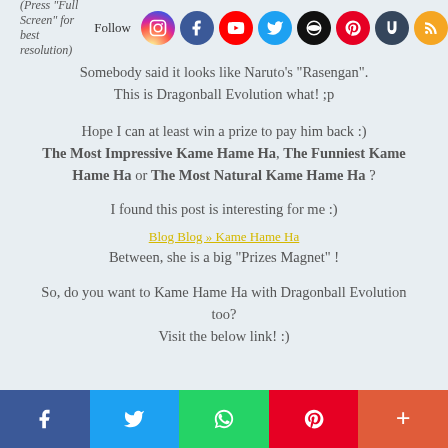(Press "Full Screen" for best resolution) Follow [social icons: Instagram, Facebook, YouTube, Twitter, Flickr, Pinterest, Tumblr, RSS]
Somebody said it looks like Naruto's "Rasengan". This is Dragonball Evolution what! ;p
Hope I can at least win a prize to pay him back :) The Most Impressive Kame Hame Ha, The Funniest Kame Hame Ha or The Most Natural Kame Hame Ha ?
I found this post is interesting for me :)
[Blog Blog » Kame Hame Ha]
Between, she is a big "Prizes Magnet" !
So, do you want to Kame Hame Ha with Dragonball Evolution too? Visit the below link! :)
[Facebook] [Twitter] [WhatsApp] [Pinterest] [More]